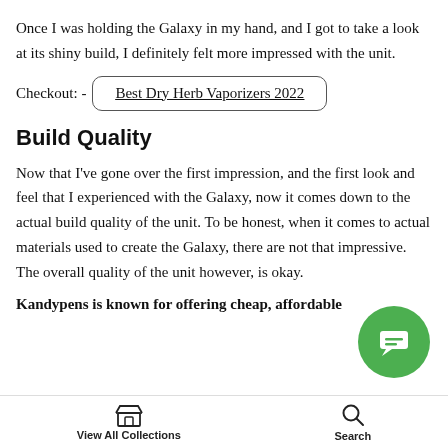Once I was holding the Galaxy in my hand, and I got to take a look at its shiny build, I definitely felt more impressed with the unit.
Checkout: - Best Dry Herb Vaporizers 2022
Build Quality
Now that I've gone over the first impression, and the first look and feel that I experienced with the Galaxy, now it comes down to the actual build quality of the unit. To be honest, when it comes to actual materials used to create the Galaxy, there are not that impressive. The overall quality of the unit however, is okay.
Kandypens is known for offering cheap, affordable
View All Collections  Search